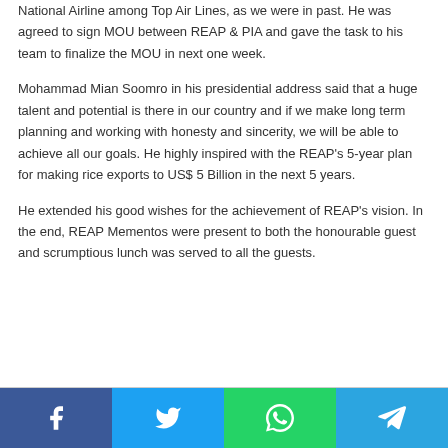National Airline among Top Air Lines, as we were in past. He was agreed to sign MOU between REAP & PIA and gave the task to his team to finalize the MOU in next one week.
Mohammad Mian Soomro in his presidential address said that a huge talent and potential is there in our country and if we make long term planning and working with honesty and sincerity, we will be able to achieve all our goals. He highly inspired with the REAP's 5-year plan for making rice exports to US$ 5 Billion in the next 5 years.
He extended his good wishes for the achievement of REAP's vision. In the end, REAP Mementos were present to both the honourable guest and scrumptious lunch was served to all the guests.